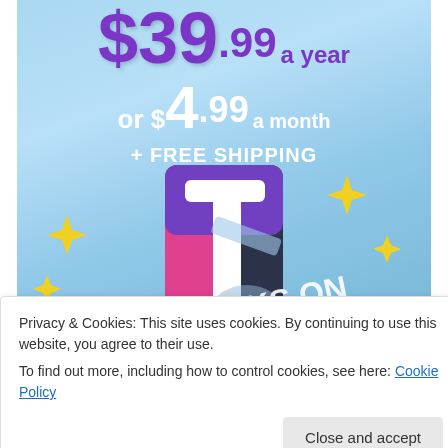[Figure (infographic): Tumblr subscription pricing banner with sky blue gradient background. Shows price $39.99 a year in purple, or $4.99 a month in white, plus FREE SHIPPING. Tumblr 't' logo with sparkles. Partially visible text 'WORKS ON' at bottom right.]
Privacy & Cookies: This site uses cookies. By continuing to use this website, you agree to their use.
To find out more, including how to control cookies, see here: Cookie Policy
Close and accept